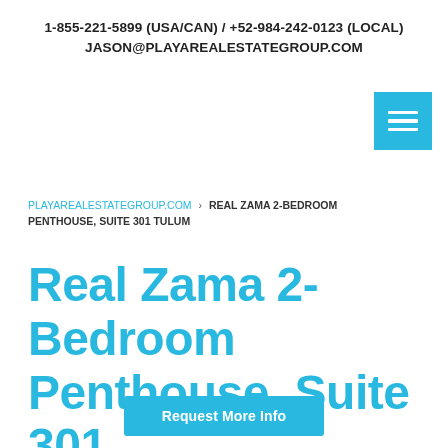1-855-221-5899 (USA/CAN) / +52-984-242-0123 (LOCAL)
JASON@PLAYAREALESTATEGROUP.COM
[Figure (other): Blue hamburger menu button icon with three horizontal white bars]
PLAYAREALESTATEGROUP.COM › REAL ZAMA 2-BEDROOM PENTHOUSE, SUITE 301 TULUM
Real Zama 2-Bedroom Penthouse, Suite 301 Tulum ( Quintana Roo, MX -
Request More Info